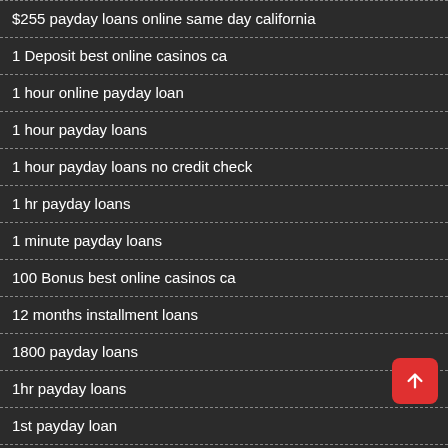$255 payday loans online same day california
1 Deposit best online casinos ca
1 hour online payday loan
1 hour payday loans
1 hour payday loans no credit check
1 hr payday loans
1 minute payday loans
100 Bonus best online casinos ca
12 months installment loans
1800 payday loans
1hr payday loans
1st payday loan